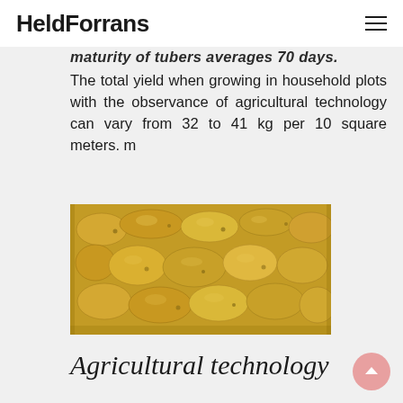HeldForrans
maturity of tubers averages 70 days. The total yield when growing in household plots with the observance of agricultural technology can vary from 32 to 41 kg per 10 square meters. m
[Figure (photo): Photograph of multiple yellow-golden potatoes arranged closely together on a flat surface]
Agricultural technology